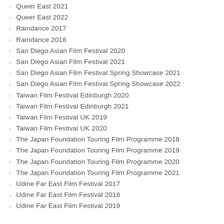Queer East 2021
Queer East 2022
Raindance 2017
Raindance 2018
San Diego Asian Film Festival 2020
San Diego Asian Film Festival 2021
San Diego Asian Film Festival Spring Showcase 2021
San Diego Asian Film Festival Spring Showcase 2022
Taiwan Film Festival Edinburgh 2020
Taiwan Film Festival Edinburgh 2021
Taiwan Film Festival UK 2019
Taiwan Film Festival UK 2020
The Japan Foundation Touring Film Programme 2018
The Japan Foundation Touring Film Programme 2019
The Japan Foundation Touring Film Programme 2020
The Japan Foundation Touring Film Programme 2021
Udine Far East Film Festival 2017
Udine Far East Film Festival 2018
Udine Far East Film Festival 2019